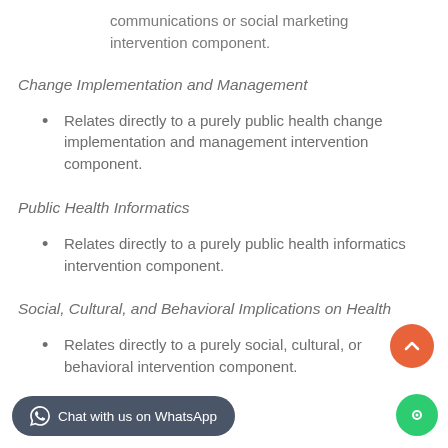communications or social marketing intervention component.
Change Implementation and Management
Relates directly to a purely public health change implementation and management intervention component.
Public Health Informatics
Relates directly to a purely public health informatics intervention component.
Social, Cultural, and Behavioral Implications on Health
Relates directly to a purely social, cultural, or behavioral intervention component.